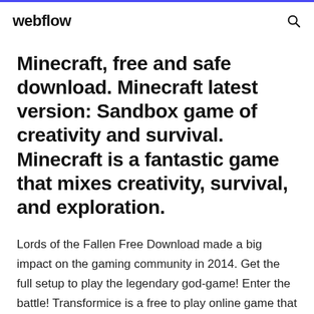webflow
Minecraft, free and safe download. Minecraft latest version: Sandbox game of creativity and survival. Minecraft is a fantastic game that mixes creativity, survival, and exploration.
Lords of the Fallen Free Download made a big impact on the gaming community in 2014. Get the full setup to play the legendary god-game! Enter the battle! Transformice is a free to play online game that comes with a wicked sense of humour and a host of different options for...